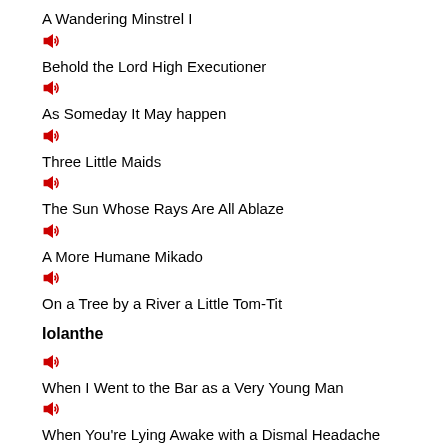A Wandering Minstrel I
[Figure (other): Red speaker/audio icon]
Behold the Lord High Executioner
[Figure (other): Red speaker/audio icon]
As Someday It May happen
[Figure (other): Red speaker/audio icon]
Three Little Maids
[Figure (other): Red speaker/audio icon]
The Sun Whose Rays Are All Ablaze
[Figure (other): Red speaker/audio icon]
A More Humane Mikado
[Figure (other): Red speaker/audio icon]
On a Tree by a River a Little Tom-Tit
Iolanthe
[Figure (other): Red speaker/audio icon]
When I Went to the Bar as a Very Young Man
[Figure (other): Red speaker/audio icon]
When You're Lying Awake with a Dismal Headache
[Figure (other): Red speaker/audio icon]